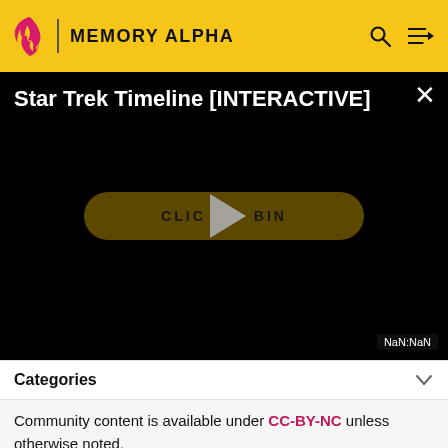MEMORY ALPHA
[Figure (screenshot): Video player showing 'Star Trek Timeline [INTERACTIVE]' with a play button overlay and a 'CLICK TO BEGIN' banner on a black background. Time display shows NaN:NaN.]
Categories
Community content is available under CC-BY-NC unless otherwise noted.